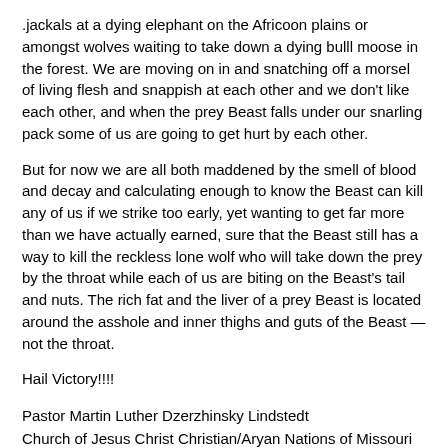.jackals at a dying elephant on the Africoon plains or amongst wolves waiting to take down a dying bulll moose in the forest. We are moving on in and snatching off a morsel of living flesh and snappish at each other and we don't like each other, and when the prey Beast falls under our snarling pack some of us are going to get hurt by each other.
But for now we are all both maddened by the smell of blood and decay and calculating enough to know the Beast can kill any of us if we strike too early, yet wanting to get far more than we have actually earned, sure that the Beast still has a way to kill the reckless lone wolf who will take down the prey by the throat while each of us are biting on the Beast's tail and nuts. The rich fat and the liver of a prey Beast is located around the asshole and inner thighs and guts of the Beast — not the throat.
Hail Victory!!!!
Pastor Martin Luther Dzerzhinsky Lindstedt
Church of Jesus Christ Christian/Aryan Nations of Missouri
http://whitenationalist.org